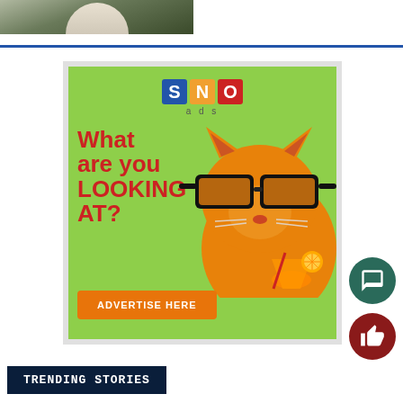[Figure (photo): Partial photo of a person at top of page, cropped]
[Figure (infographic): SNO ads advertisement banner with green background featuring a cat wearing sunglasses drinking a cocktail. Text reads: What are you LOOKING AT? ADVERTISE HERE]
TRENDING STORIES